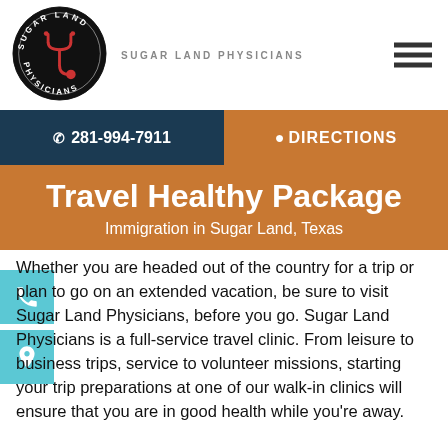[Figure (logo): Sugar Land Physicians circular logo with stethoscope icon]
SUGAR LAND PHYSICIANS
☰ (hamburger menu icon)
☎ 281-994-7911
📍DIRECTIONS
Travel Healthy Package
Immigration in Sugar Land, Texas
Whether you are headed out of the country for a trip or plan to go on an extended vacation, be sure to visit Sugar Land Physicians, before you go. Sugar Land Physicians is a full-service travel clinic. From leisure to business trips, service to volunteer missions, starting your trip preparations at one of our walk-in clinics will ensure that you are in good health while you're away.